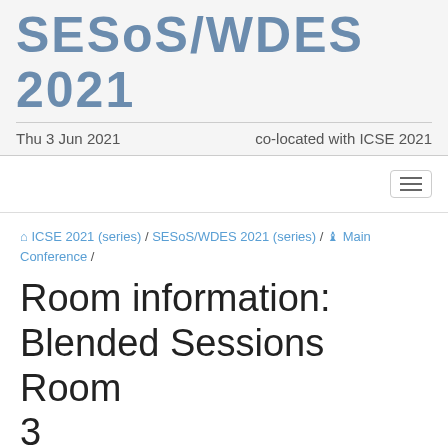SESoS/WDES 2021
Thu 3 Jun 2021    co-located with ICSE 2021
ICSE 2021 (series) / SESoS/WDES 2021 (series) / Main Conference /
Room information: Blended Sessions Room 3
Venue
Main Conference